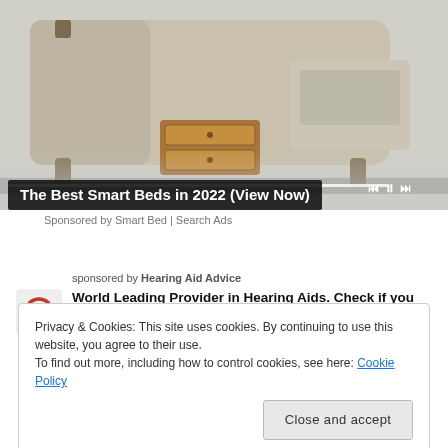[Figure (photo): Product photo of a smart bed with storage drawers, shown in a slideshow player UI with media controls and a progress bar.]
The Best Smart Beds in 2022 (View Now)
Sponsored by Smart Bed | Search Ads
sponsored by Hearing Aid Advice
World Leading Provider in Hearing Aids. Check if you qualify for a no-risk trial today!
Privacy & Cookies: This site uses cookies. By continuing to use this website, you agree to their use.
To find out more, including how to control cookies, see here: Cookie Policy
Close and accept